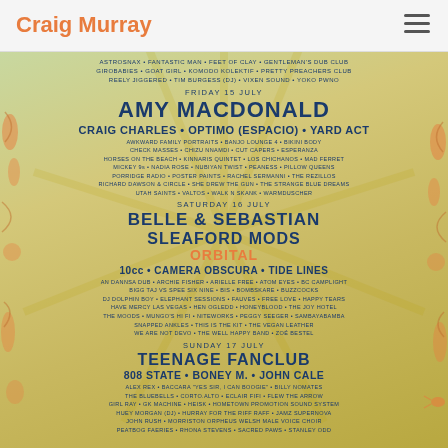Craig Murray
[Figure (infographic): Festival lineup poster with warm yellow-green background and decorative botanical/animal illustrations on sides. Shows lineup for a music festival across three days: Friday 15 July, Saturday 16 July, Sunday 17 July.]
ASTROSNAX • FANTASTIC MAN • FEET OF CLAY • GENTLEMAN'S DUB CLUB
GIROBABIES • GOAT GIRL • KOMODO KOLEKTIF • PRETTY PREACHERS CLUB
REELY JIGGERED • TIM BURGESS (DJ) • VIXEN SOUND • YOKO PWNO
FRIDAY 15 JULY
AMY MACDONALD
CRAIG CHARLES • OPTIMO (ESPACIO) • YARD ACT
AWKWARD FAMILY PORTRAITS • BANJO LOUNGE 4 • BIKINI BODY
CHECK MASSES • CHIZU NNAMDI • CUT CAPERS • ESPERANZA
HORSES ON THE BEACH • KINNARIS QUINTET • LOS CHICHANOS • MAD FERRET
MICKEY 9s • NADIA ROSE • NUBIYAN TWIST • PEANESS • PILLOW QUEENS
PORRIDGE RADIO • POSTER PAINTS • RACHEL SERMANNI • THE REZILLOS
RICHARD DAWSON & CIRCLE • SHE DREW THE GUN • THE STRANGE BLUE DREAMS
UTAH SAINTS • VALTOS • WALK N SKANK • WARMDUSCHER
SATURDAY 16 JULY
BELLE & SEBASTIAN
SLEAFORD MODS
ORBITAL
10cc • CAMERA OBSCURA • TIDE LINES
AN DANNSA DUB • ARCHIE FISHER • ARIELLE FREE • ATOM EYES • BC CAMPLIGHT
BIGG TAJ VS SPEE SIX NINE • BIS • BOMBSKARE • BUZZCOCKS
DJ DOLPHIN BOY • ELEPHANT SESSIONS • FAUVES • FREE LOVE • HAPPY TEARS
HAVE MERCY LAS VEGAS • HEN OGLEDD • HONEYBLOOD • THE JOY HOTEL
THE MOODS • MUNGO'S HI FI • NITEWORKS • PEGGY SEEGER • SAMBAYABAMBA
SNAPPED ANKLES • THIS IS THE KIT • THE VEGAN LEATHER
WE ARE NOT DEVO • THE WELL HAPPY BAND • ZOÉ BESTEL
SUNDAY 17 JULY
TEENAGE FANCLUB
808 STATE • BONEY M. • JOHN CALE
ALEX REX • BACCARA "YES SIR, I CAN BOOGIE" • BILLY NOMATES
THE BLUEBELLS • CORTO.ALTO • ECLAIR FIFI • FLEW THE ARROW
GIRL RAY • GK MACHINE • HEISK • HOMETOWN PROMOTION SOUND SYSTEM
HUEY MORGAN (DJ) • HURRAY FOR THE RIFF RAFF • JAMZ SUPERNOVA
JOHN RUSH • MORRISTON ORPHEUS WELSH MALE VOICE CHOIR
PEATBOG FAERIES • RHONA STEVENS • SACRED PAWS • STANLEY ODD